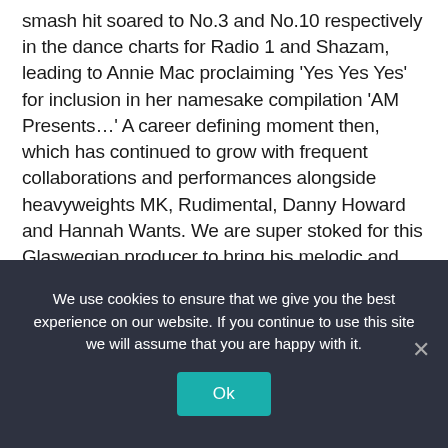smash hit soared to No.3 and No.10 respectively in the dance charts for Radio 1 and Shazam, leading to Annie Mac proclaiming 'Yes Yes Yes' for inclusion in her namesake compilation 'AM Presents…' A career defining moment then, which has continued to grow with frequent collaborations and performances alongside heavyweights MK, Rudimental, Danny Howard and Hannah Wants. We are super stoked for this Glaswegian producer to bring his melodic and fresh
We use cookies to ensure that we give you the best experience on our website. If you continue to use this site we will assume that you are happy with it.
Ok